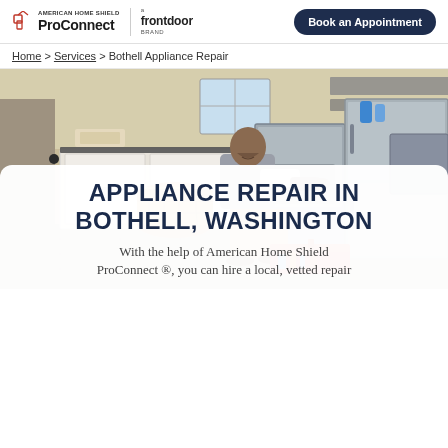American Home Shield ProConnect | a frontdoor brand | Book an Appointment
Home > Services > Bothell Appliance Repair
[Figure (photo): A man crouching and repairing a stainless steel appliance (dishwasher or refrigerator) in a laundry/kitchen room with white cabinets, a wicker basket, and appliances in the background.]
APPLIANCE REPAIR IN BOTHELL, WASHINGTON
With the help of American Home Shield ProConnect ®, you can hire a local, vetted repair